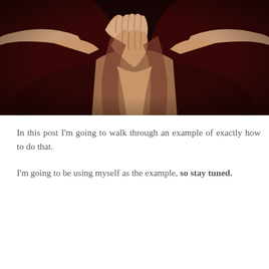[Figure (photo): Dark dramatic photo of a person with hands covering their face, arms spread wide, fingers interlaced, sepia/dark red toned background]
In this post I'm going to walk through an example of exactly how to do that.
I'm going to be using myself as the example, so stay tuned.